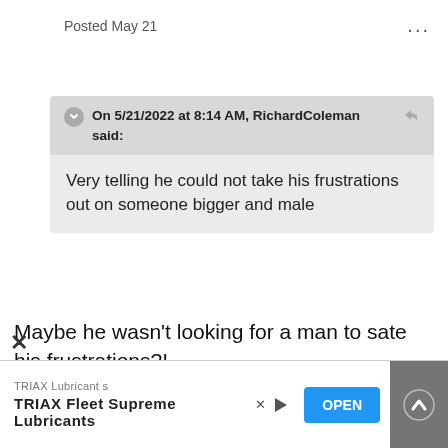Posted May 21
On 5/21/2022 at 8:14 AM, RichardColeman said:
Very telling he could not take his frustrations out on someone bigger and male
Maybe he wasn't looking for a man to sate his frustrations?!
TRIAX Lubricants
TRIAX Fleet Supreme Lubricants